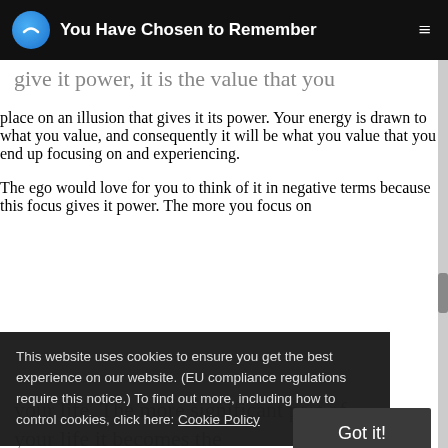You Have Chosen to Remember
give it power, it is the value that you place on an illusion that gives it its power. Your energy is drawn to what you value, and consequently it will be what you value that you end up focusing on and experiencing. The ego would love for you to think of it in negative terms because this focus gives it power. The more you focus on
This website uses cookies to ensure you get the best experience on our website. (EU compliance regulations require this notice.) To find out more, including how to control cookies, click here: Cookie Policy
Got it!
your life. The more significant part of your life it becomes the